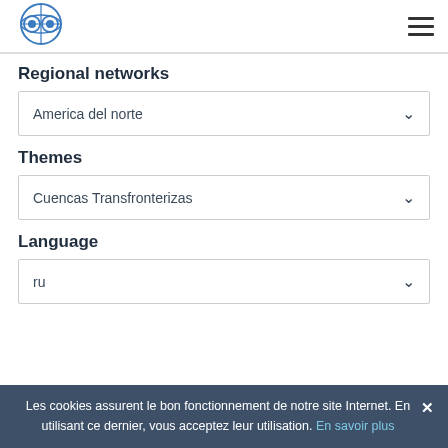[Figure (logo): Globe/network organization logo in blue]
Regional networks
America del norte
Themes
Cuencas Transfronterizas
Language
ru
Les cookies assurent le bon fonctionnement de notre site Internet. En utilisant ce dernier, vous acceptez leur utilisation. En savoir plus